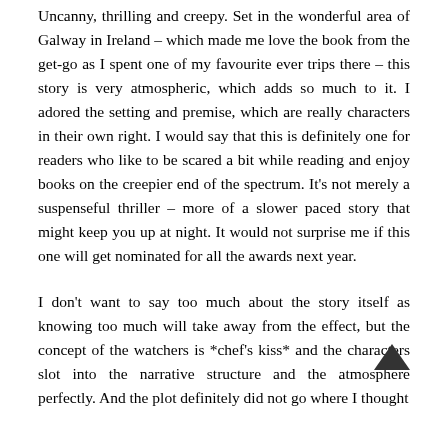Uncanny, thrilling and creepy. Set in the wonderful area of Galway in Ireland – which made me love the book from the get-go as I spent one of my favourite ever trips there – this story is very atmospheric, which adds so much to it. I adored the setting and premise, which are really characters in their own right. I would say that this is definitely one for readers who like to be scared a bit while reading and enjoy books on the creepier end of the spectrum. It's not merely a suspenseful thriller – more of a slower paced story that might keep you up at night. It would not surprise me if this one will get nominated for all the awards next year.
I don't want to say too much about the story itself as knowing too much will take away from the effect, but the concept of the watchers is *chef's kiss* and the characters slot into the narrative structure and the atmosphere perfectly. And the plot definitely did not go where I thought